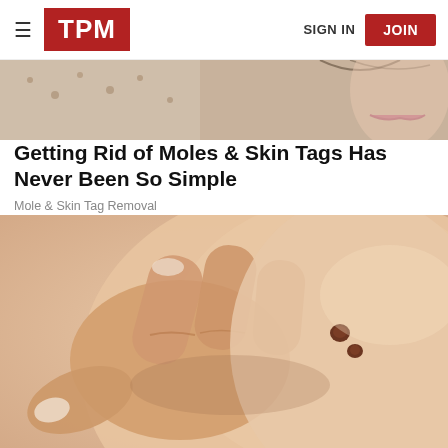TPM  SIGN IN  JOIN
[Figure (photo): Cropped top portion of a person's shoulder/neck area, blurred background]
Getting Rid of Moles & Skin Tags Has Never Been So Simple
Mole & Skin Tag Removal
[Figure (photo): Close-up photo of a hand touching a person's shoulder/back skin with two small brown moles visible]